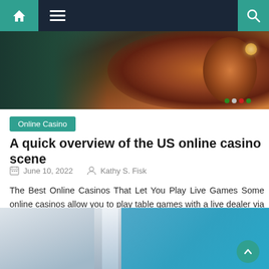Navigation bar with home, menu, and search icons
[Figure (photo): Close-up photo of a casino roulette wheel with warm brown and orange tones on a dark blue-green background]
Online Casino
A quick overview of the US online casino scene
June 10, 2022   Kathy S. Fisk
The Best Online Casinos That Let You Play Live Games Some online casinos allow you to play table games with a live dealer via video. Bovada and Ignition are two such casinos. Playing live, in-person blackjack or roulette from the comfort of your own home is as close as it gets. If you want to [...]
[Figure (photo): Aerial view of ocean waves meeting a beach shoreline with blue-green water and white foam]